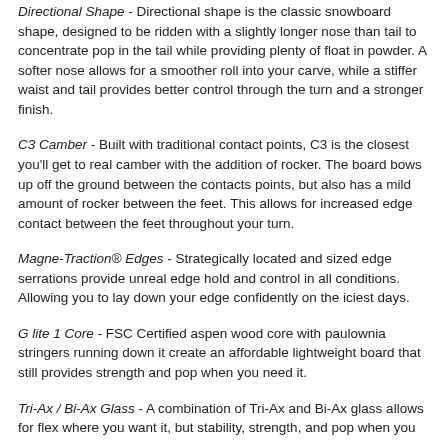Directional Shape - Directional shape is the classic snowboard shape, designed to be ridden with a slightly longer nose than tail to concentrate pop in the tail while providing plenty of float in powder. A softer nose allows for a smoother roll into your carve, while a stiffer waist and tail provides better control through the turn and a stronger finish.
C3 Camber - Built with traditional contact points, C3 is the closest you'll get to real camber with the addition of rocker. The board bows up off the ground between the contacts points, but also has a mild amount of rocker between the feet. This allows for increased edge contact between the feet throughout your turn.
Magne-Traction® Edges - Strategically located and sized edge serrations provide unreal edge hold and control in all conditions. Allowing you to lay down your edge confidently on the iciest days.
G lite 1 Core - FSC Certified aspen wood core with paulownia stringers running down it create an affordable lightweight board that still provides strength and pop when you need it.
Tri-Ax / Bi-Ax Glass - A combination of Tri-Ax and Bi-Ax glass allows for flex where you want it, but stability, strength, and pop when you